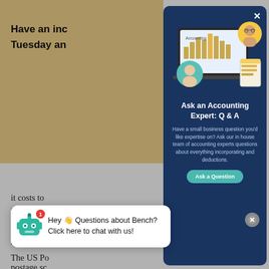Have an inc
Tuesday an
it costs to
higher tha
you, consi
price of th
The US Po
ła
an,
postage sc
inexpensiv
[Figure (screenshot): Modal popup on dark blue background showing a laptop with accounting dashboard, two circular portrait photos of people, and a document/invoice graphic. Title: Ask an Accounting Expert: Q & A. Body: Have a small business question you'd like expertise on? Ask our in house team of accounting experts questions about everything incorporating and deductions. Button: Ask a Question.]
Ask an Accounting Expert: Q & A
Have a small business question you'd like expertise on? Ask our in house team of accounting experts questions about everything incorporating and deductions.
Hey 👋 Questions about Bench? Click here to chat with us!